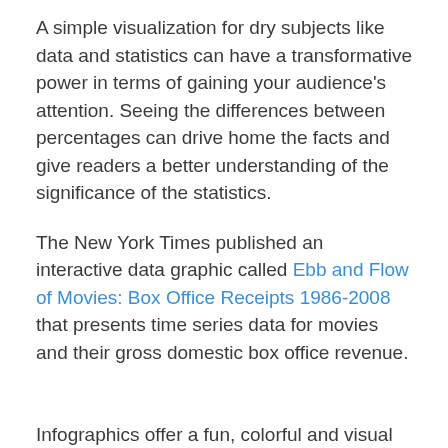A simple visualization for dry subjects like data and statistics can have a transformative power in terms of gaining your audience's attention. Seeing the differences between percentages can drive home the facts and give readers a better understanding of the significance of the statistics.
The New York Times published an interactive data graphic called Ebb and Flow of Movies: Box Office Receipts 1986-2008 that presents time series data for movies and their gross domestic box office revenue.
Infographics offer a fun, colorful and visual way to share the same information via an image.